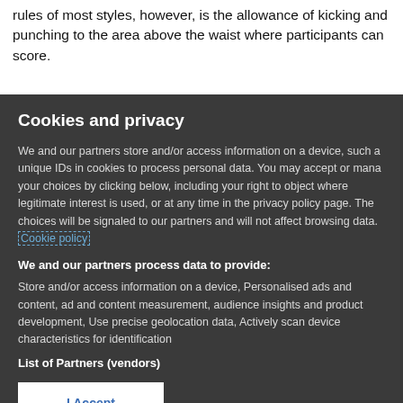rules of most styles, however, is the allowance of kicking and punching to the area above the waist where participants can score.
Cookies and privacy
We and our partners store and/or access information on a device, such as unique IDs in cookies to process personal data. You may accept or manage your choices by clicking below, including your right to object where legitimate interest is used, or at any time in the privacy policy page. These choices will be signaled to our partners and will not affect browsing data. Cookie policy
We and our partners process data to provide:
Store and/or access information on a device, Personalised ads and content, ad and content measurement, audience insights and product development, Use precise geolocation data, Actively scan device characteristics for identification
List of Partners (vendors)
I Accept